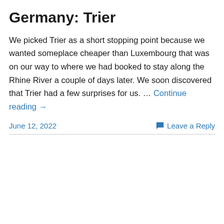Germany: Trier
We picked Trier as a short stopping point because we wanted someplace cheaper than Luxembourg that was on our way to where we had booked to stay along the Rhine River a couple of days later. We soon discovered that Trier had a few surprises for us. … Continue reading →
June 12, 2022
Leave a Reply